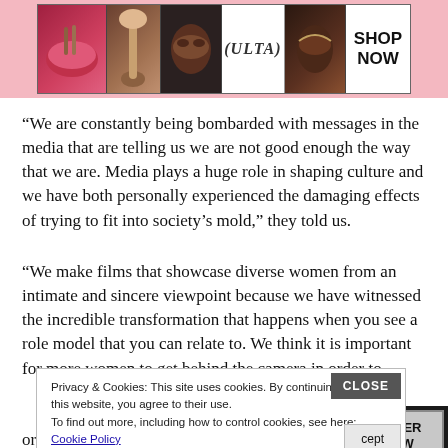[Figure (advertisement): ULTA Beauty banner advertisement with makeup imagery, ULTA logo, and SHOP NOW button]
“We are constantly being bombarded with messages in the media that are telling us we are not good enough the way that we are. Media plays a huge role in shaping culture and we have both personally experienced the damaging effects of trying to fit into society’s mold,” they told us.
“We make films that showcase diverse women from an intimate and sincere viewpoint because we have witnessed the incredible transformation that happens when you see a role model that you can relate to. We think it is important for more women to get behind the camera in order to
Privacy & Cookies: This site uses cookies. By continuing to use this website, you agree to their use.
To find out more, including how to control cookies, see here: Cookie Policy
[Figure (advertisement): Seamless food delivery advertisement with pizza imagery, Seamless logo, and ORDER NOW button]